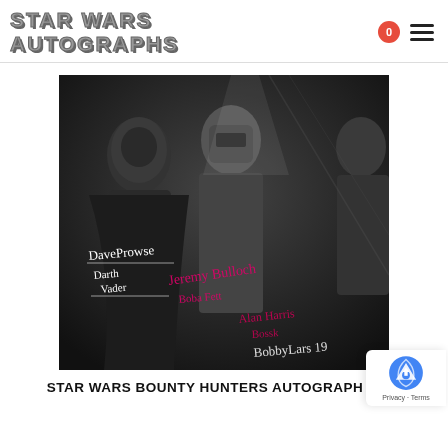STAR WARS AUTOGRAPHS
[Figure (photo): Black and white photograph of Star Wars characters Darth Vader, Boba Fett, and Bossk with multiple autographs in white and pink/magenta ink. Signatures include 'Dave Prowse - Darth Vader', 'Jeremy Bulloch - Boba Fett', 'Alan Harris - Bossk', and a fourth signature partially visible.]
STAR WARS BOUNTY HUNTERS AUTOGRAPH 8X10